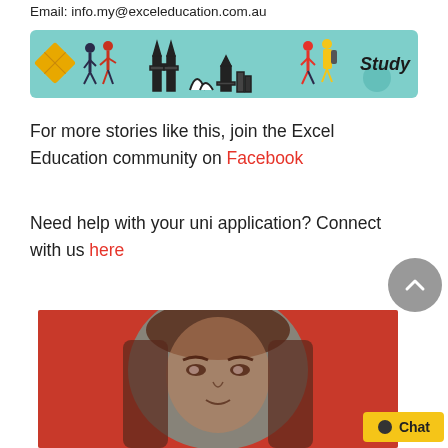Email: info.my@exceleducation.com.au
[Figure (illustration): Excel Education banner with teal background, diamond logo, illustrated figures of people, city skyline silhouette, and bold italic 'Study' text on the right]
For more stories like this, join the Excel Education community on Facebook
Need help with your uni application? Connect with us here
[Figure (photo): Close-up portrait photo of a young woman with a teal/red duotone color treatment overlay]